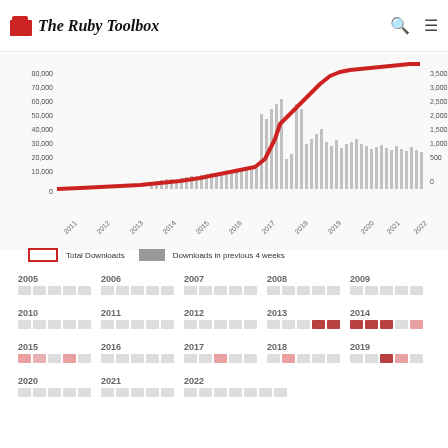The Ruby Toolbox
[Figure (area-chart): Area/line chart showing Total Downloads (red line) and Downloads in previous 4 weeks (gray bars) from 2011 to 2022. Left y-axis goes 0 to 80,000; right y-axis goes 0 to 3,500.]
Total Downloads   Downloads in previous 4 weeks
[Figure (other): Calendar heatmap showing download activity by month from 2005 to 2022. Years: 2005, 2006, 2007, 2008, 2009, 2010, 2011, 2012, 2013, 2014, 2015, 2016, 2017, 2018, 2019, 2020, 2021, 2022. Cells colored from light gray (no/low activity) to red (high activity). 2013 H2 and nearby months show strong red coloring.]